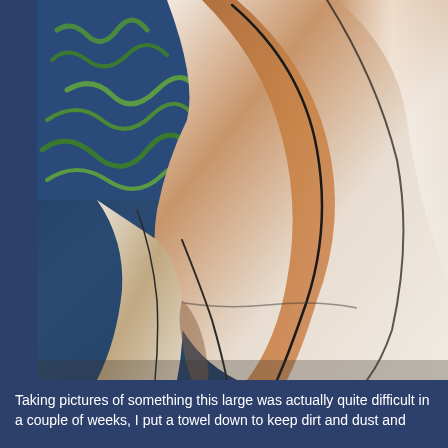[Figure (photo): Close-up photo of a large white and tan colored bag or cushion with curved black outline seams, partially resting against a blue patterned background (towel or fabric with green marks). The item appears to be a large inflatable or padded object photographed indoors.]
Taking pictures of something this large was actually quite difficult in a couple of weeks, I put a towel down to keep dirt and dust and